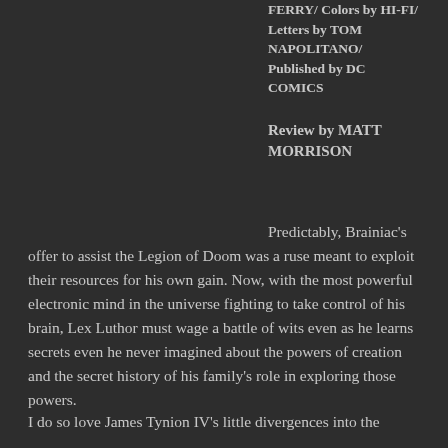FERRY/ Colors by HI-FI/ Letters by TOM NAPOLITANO/ Published by DC COMICS
Review by MATT MORRISON
Predictably, Brainiac's offer to assist the Legion of Doom was a ruse meant to exploit their resources for his own gain. Now, with the most powerful electronic mind in the universe fighting to take control of his brain, Lex Luthor must wage a battle of wits even as he learns secrets even he never imagined about the powers of creation and the secret history of his family's role in exploring those powers.
I do so love James Tynion IV's little divergences into the